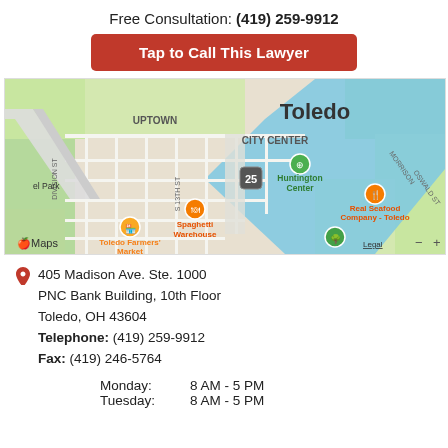Free Consultation: (419) 259-9912
Tap to Call This Lawyer
[Figure (map): Apple Maps screenshot showing downtown Toledo, OH with landmarks including Huntington Center, Spaghetti Warehouse, Toledo Farmers Market, Real Seafood Company - Toledo, route 25, and the Maumee River.]
405 Madison Ave. Ste. 1000
PNC Bank Building, 10th Floor
Toledo, OH 43604
Telephone: (419) 259-9912
Fax: (419) 246-5764
Monday: 8 AM - 5 PM
Tuesday: 8 AM - 5 PM